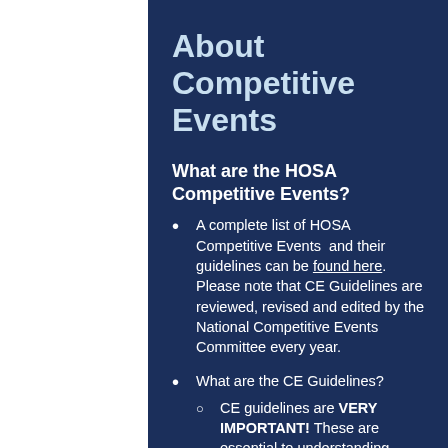About Competitive Events
What are the HOSA Competitive Events?
A complete list of HOSA Competitive Events and their guidelines can be found here. Please note that CE Guidelines are reviewed, revised and edited by the National Competitive Events Committee every year.
What are the CE Guidelines?
CE guidelines are VERY IMPORTANT! These are essential to understanding